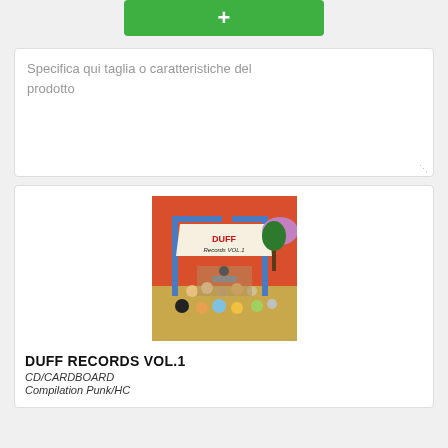[Figure (other): Green button with plus symbol]
Specifica qui taglia o caratteristiche del prodotto
[Figure (illustration): Album cover art for Duff Records Vol.1 - colorful cartoon punk/HC compilation artwork showing many cartoon characters at an outdoor concert]
DUFF RECORDS VOL.1
CD/CARDBOARD
Compilation Punk/HC